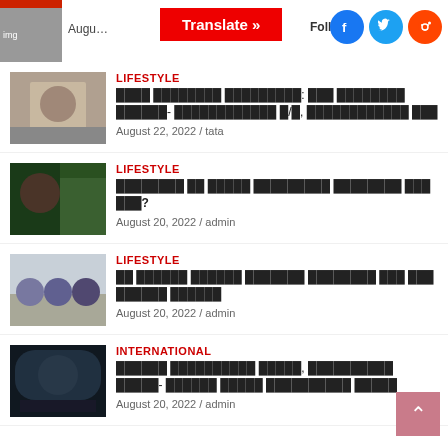[Figure (screenshot): Top bar with partial image, 'Augu…' text, red Translate button, FolloFol text, and Facebook, Twitter, Reddit social icons]
LIFESTYLE
████ ████████ █████████: ███ ████████ ██████- ████████████ █/█, ████████████ ███
August 22, 2022 / tata
LIFESTYLE
████████ ██ █████ █████████ ████████ ███ ███?
August 20, 2022 / admin
LIFESTYLE
██ ██████ ██████ ███████ ████████ ███ ███ ██████ ██████
August 20, 2022 / admin
INTERNATIONAL
██████ ██████████ █████, ██████████ █████- ██████ █████ ██████████ █████
August 20, 2022 / admin
[Figure (other): Back to top button (pink/rose colored square with up caret symbol)]